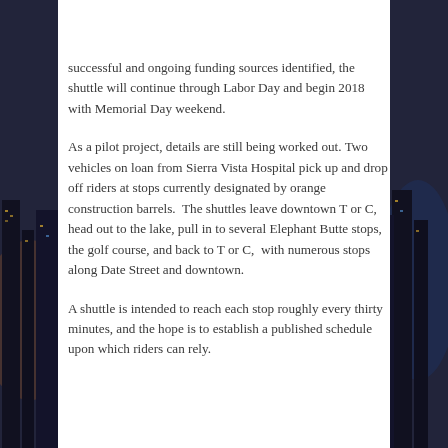successful and ongoing funding sources identified, the shuttle will continue through Labor Day and begin 2018 with Memorial Day weekend.
As a pilot project, details are still being worked out. Two vehicles on loan from Sierra Vista Hospital pick up and drop off riders at stops currently designated by orange construction barrels.  The shuttles leave downtown T or C, head out to the lake, pull in to several Elephant Butte stops, the golf course, and back to T or C,  with numerous stops along Date Street and downtown.
A shuttle is intended to reach each stop roughly every thirty minutes, and the hope is to establish a published schedule upon which riders can rely.